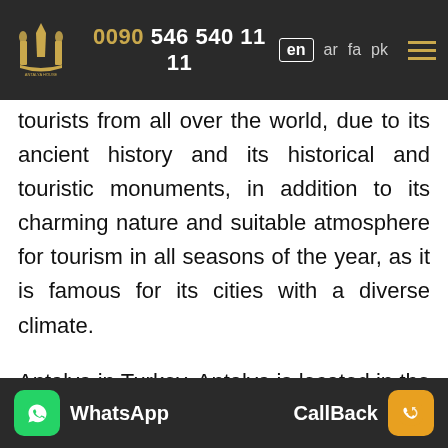0090 546 540 11 11 | en ar fa pk
tourists from all over the world, due to its ancient history and its historical and touristic monuments, in addition to its charming nature and suitable atmosphere for tourism in all seasons of the year, as it is famous for its cities with a diverse climate.
Antalya in Turkey, Antalya is located in the southwestern side of Turkey on the coast of the Mediterranean Sea, Antalya is considered one of the largest resorts in the world because of its charming nature and attractive sandy beaches. Also, the city of Antalya is one of the historical and
WhatsApp | CallBack